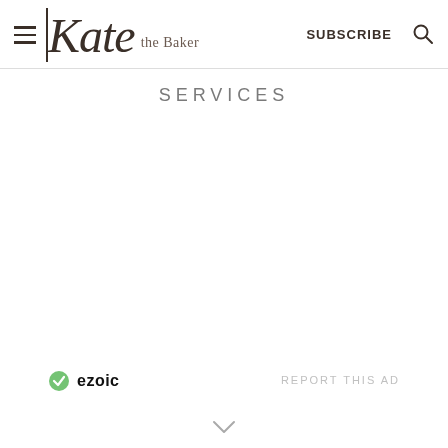Kate the Baker — SUBSCRIBE
SERVICES
[Figure (logo): Ezoic logo with green circle checkmark icon and bold 'ezoic' text]
REPORT THIS AD